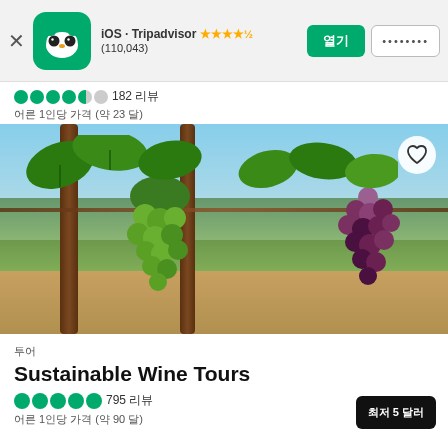iOS · Tripadvisor ★★★★½ (110,043)
182 리뷰
어른 1인당 가격 (약 23 달)
[Figure (photo): Vineyard photo with clusters of green and purple grapes hanging from vines in a sunny vineyard]
투어
Sustainable Wine Tours
795 리뷰
어른 1인당 가격 (약 90 달)
최저 5 달러